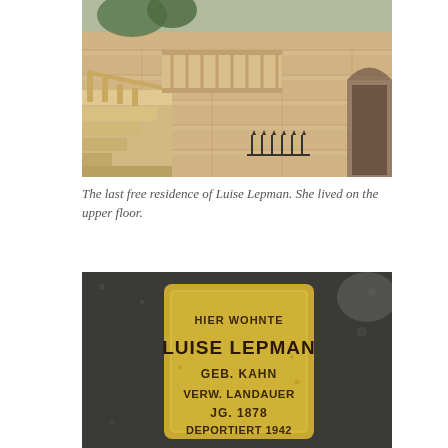[Figure (photo): A stone building exterior with stairs, balustrade, iron fence, and trees visible. The last free residence of Luise Lepman.]
The last free residence of Luise Lepman. She lived on the upper floor.
[Figure (photo): A Stolperstein (stumbling stone) memorial plaque embedded in pavement reading: HIER WOHNTE LUISE LEPMAN GEB. KAHN VERW. LANDAUER JG. 1878 DEPORTIERT 1942]